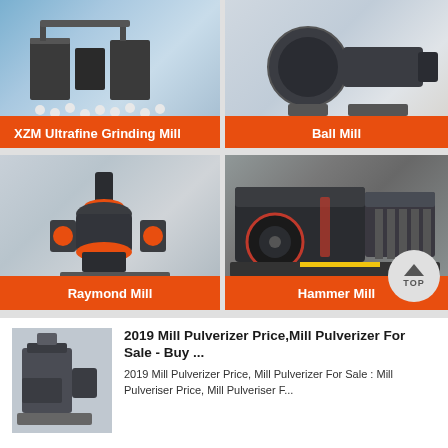[Figure (photo): Industrial ball mill machine with steel balls on factory floor, blue background]
XZM Ultrafine Grinding Mill
[Figure (photo): Ball mill cylindrical grinding machine, dark grey, on white background]
Ball Mill
[Figure (photo): Raymond mill vertical grinding machine in industrial factory setting]
Raymond Mill
[Figure (photo): Hammer mill heavy crusher machine in factory workshop with red highlights]
Hammer Mill
[Figure (photo): Industrial mill pulverizer machine exterior view]
2019 Mill Pulverizer Price,Mill Pulverizer For Sale - Buy ...
2019 Mill Pulverizer Price, Mill Pulverizer For Sale : Mill Pulveriser Price, Mill Pulveriser F...